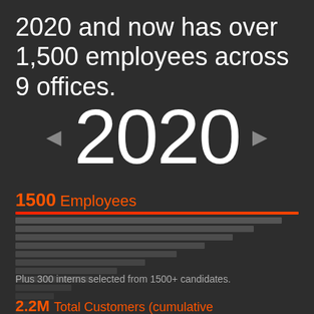2020 and now has over 1,500 employees across 9 offices.
◄ 2020 ►
1500 Employees
[Figure (bar-chart): Horizontal bar chart showing employee distribution across departments, with a red reference line at top and bars of varying lengths in grey tones]
Plus 300 interns selected from 1500+ candidates.
2.2M Total Customers (cumulative)